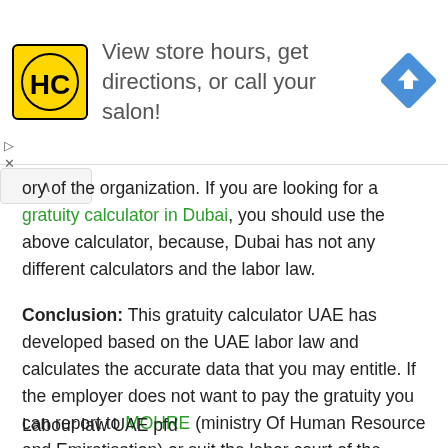[Figure (other): Advertisement banner for a hair care salon (HC logo in yellow circle on black background) with text 'View store hours, get directions, or call your salon!' and a blue navigation/directions diamond icon on the right. Small play and close (X) controls at bottom left.]
ory of the organization. If you are looking for a gratuity calculator in Dubai, you should use the above calculator, because, Dubai has not any different calculators and the labor law.
Conclusion: This gratuity calculator UAE has developed based on the UAE labor law and calculates the accurate data that you may entitle. If the employer does not want to pay the gratuity you can report to MOHRE (ministry Of Human Resource and Emiratisation) or suit the labor court of the UAE.
Labour law UAE pfd